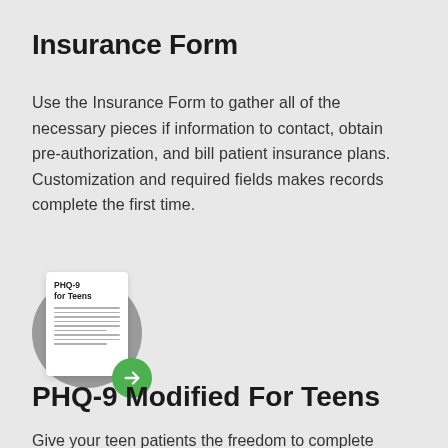Insurance Form
Use the Insurance Form to gather all of the necessary pieces if information to contact, obtain pre-authorization, and bill patient insurance plans. Customization and required fields makes records complete the first time.
[Figure (illustration): Document icon showing a form titled 'PHQ-9 for Teens' with lined paper, a dark circular background, and a green circle with a right-pointing arrow at the bottom right.]
PHQ-9 Modified For Teens
Give your teen patients the freedom to complete